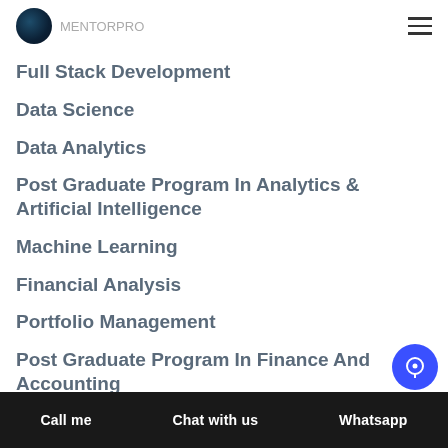MENTORPRO (logo + hamburger menu)
Full Stack Development
Data Science
Data Analytics
Post Graduate Program In Analytics & Artificial Intelligence
Machine Learning
Financial Analysis
Portfolio Management
Post Graduate Program In Finance And Accounting
Certified Investment Banking Operations Professional
Call me | Chat with us | Whatsapp